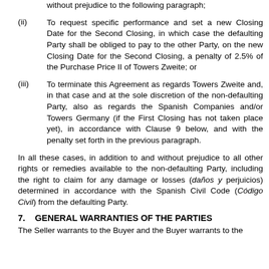without prejudice to the following paragraph;
(ii) To request specific performance and set a new Closing Date for the Second Closing, in which case the defaulting Party shall be obliged to pay to the other Party, on the new Closing Date for the Second Closing, a penalty of 2.5% of the Purchase Price II of Towers Zweite; or
(iii) To terminate this Agreement as regards Towers Zweite and, in that case and at the sole discretion of the non-defaulting Party, also as regards the Spanish Companies and/or Towers Germany (if the First Closing has not taken place yet), in accordance with Clause 9 below, and with the penalty set forth in the previous paragraph.
In all these cases, in addition to and without prejudice to all other rights or remedies available to the non-defaulting Party, including the right to claim for any damage or losses (daños y perjuicios) determined in accordance with the Spanish Civil Code (Código Civil) from the defaulting Party.
7. GENERAL WARRANTIES OF THE PARTIES
The Seller warrants to the Buyer and the Buyer warrants to the